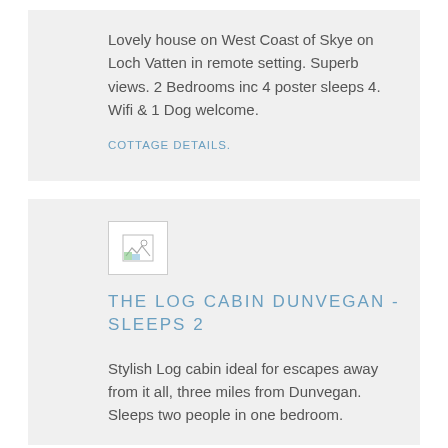Lovely house on West Coast of Skye on Loch Vatten in remote setting. Superb views. 2 Bedrooms inc 4 poster sleeps 4. Wifi & 1 Dog welcome.
COTTAGE DETAILS.
[Figure (photo): Broken/missing image placeholder thumbnail]
THE LOG CABIN DUNVEGAN - SLEEPS 2
Stylish Log cabin ideal for escapes away from it all, three miles from Dunvegan. Sleeps two people in one bedroom.